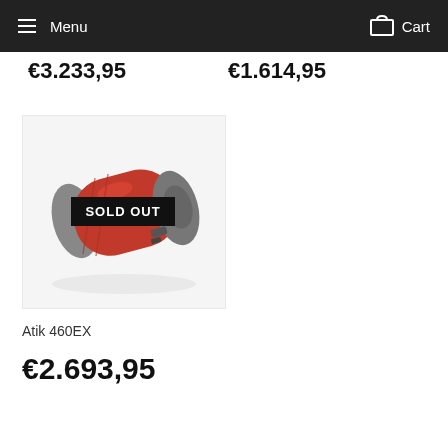Menu   Cart
€3.233,95   €1.614,95
[Figure (photo): Red cylindrical camera or optical device (Atik 460EX) with a SOLD OUT badge overlaid on the product image. The device is metallic red with grey end caps.]
SOLD OUT
Atik 460EX
€2.693,95